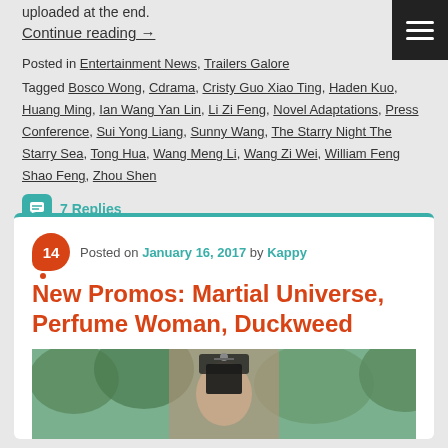uploaded at the end.
Continue reading →
Posted in Entertainment News, Trailers Galore
Tagged Bosco Wong, Cdrama, Cristy Guo Xiao Ting, Haden Kuo, Huang Ming, Ian Wang Yan Lin, Li Zi Feng, Novel Adaptations, Press Conference, Sui Yong Liang, Sunny Wang, The Starry Night The Starry Sea, Tong Hua, Wang Meng Li, Wang Zi Wei, William Feng Shao Feng, Zhou Shen
7 Replies
Posted on January 16, 2017 by Kappy
New Promos: Martial Universe, Perfume Woman, Duckweed
[Figure (photo): A person in period costume with ornate headpiece, outdoors with trees in background]